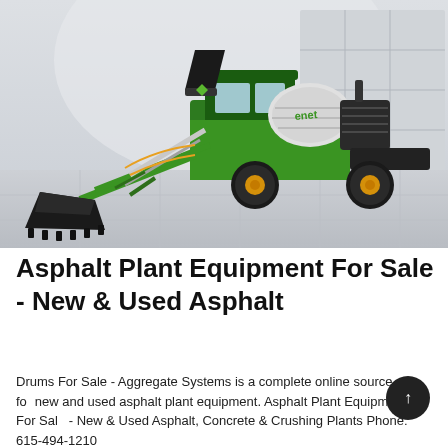[Figure (photo): A green self-loading concrete/asphalt mixer truck with a large front bucket/scoop attachment, photographed in a bright showroom-like setting with white tiled floor and windowed walls. The machine has yellow wheels and the brand name 'ENET' visible on the drum.]
Asphalt Plant Equipment For Sale - New & Used Asphalt
Drums For Sale - Aggregate Systems is a complete online source for new and used asphalt plant equipment. Asphalt Plant Equipment For Sale - New & Used Asphalt, Concrete & Crushing Plants Phone: 615-494-1210